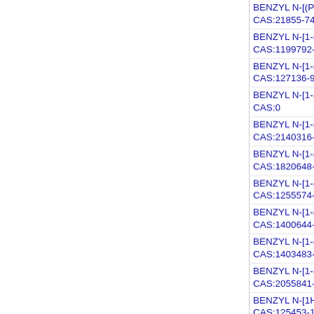BENZYL N-[(PROPYLCARBAMOYL)METHYL]CARBAM...
CAS:21855-74-3
BENZYL N-[1-([(TERT-BUTOXY)CARBONYL]AMINO)M...
CAS:1199792-80-7
BENZYL N-[1-(1H-1,2,3-BENZOTRIAZOL-1-YL)-2-PHEN...
CAS:127136-96-3
BENZYL N-[1-(1H-1,2,3-BENZOTRIAZOL-1-YL)-3-METH...
CAS:0
BENZYL N-[1-(2-BROMOPHENYL)CYCLOPROPYL]CA...
CAS:2140316-97-6
BENZYL N-[1-(2-FLUOROPHENYL)CYCLOPROPYL]CA...
CAS:1820648-90-5
BENZYL N-[1-(3-CHLOROPHENYL)CYCLOPROPYL]CA...
CAS:1255574-39-0
BENZYL N-[1-(4-BROMOPHENYL)ETHYL]CARBAMATE...
CAS:1400644-50-9
BENZYL N-[1-(4-FLUOROPHENYL)CYCLOBUTYL]CAR...
CAS:1403483-75-9
BENZYL N-[1-(AMINOMETHYL)CYCLOPROPYL]CARB...
CAS:2055841-99-9
BENZYL N-[1H-1,2,3-BENZOTRIAZOL-1-YL(PHENYL)M...
CAS:125453-15-8
BENZYL N-[2-(3-BROMOPHENYL)PROPAN-2-YL]CARB...
CAS:887254-70-8
BENZYL N-[2-(3-FLUOROPYRIDIN-4-YL)ETHYL]CARB...
BENZYL N-[2-(4,4-DIFLUOROPIPERIDIN-1-YL)-2-OXO...
BENZYL N-[2-(4-BROMOPHENYL)PROPAN-2-YL]CARB...